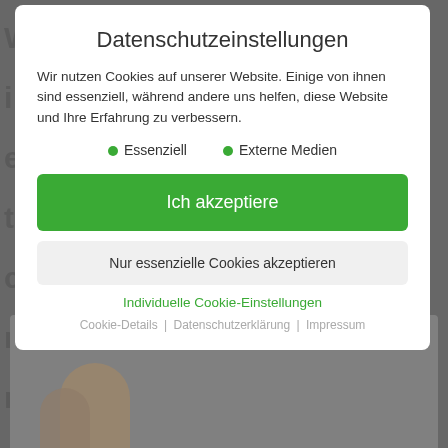[Figure (screenshot): Blurred website background with dark overlay behind cookie consent modal]
Datenschutzeinstellungen
Wir nutzen Cookies auf unserer Website. Einige von ihnen sind essenziell, während andere uns helfen, diese Website und Ihre Erfahrung zu verbessern.
Essenziell
Externe Medien
Ich akzeptiere
Nur essenzielle Cookies akzeptieren
Individuelle Cookie-Einstellungen
Cookie-Details | Datenschutzerklärung | Impressum